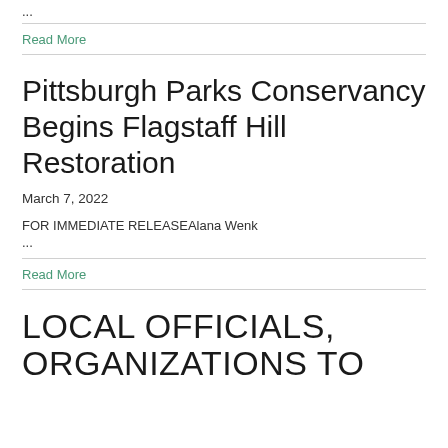...
Read More
Pittsburgh Parks Conservancy Begins Flagstaff Hill Restoration
March 7, 2022
FOR IMMEDIATE RELEASEAlana Wenk
...
Read More
LOCAL OFFICIALS, ORGANIZATIONS TO